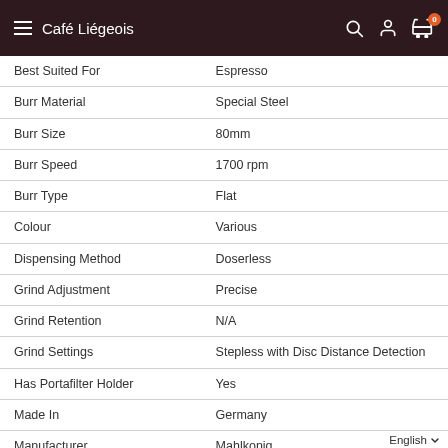Café Liégeois
| Attribute | Value |
| --- | --- |
| Best Suited For | Espresso |
| Burr Material | Special Steel |
| Burr Size | 80mm |
| Burr Speed | 1700 rpm |
| Burr Type | Flat |
| Colour | Various |
| Dispensing Method | Doserless |
| Grind Adjustment | Precise |
| Grind Retention | N/A |
| Grind Settings | Stepless with Disc Distance Detection |
| Has Portafilter Holder | Yes |
| Made In | Germany |
| Manufacturer | Mahlkonig |
| Material | N/A |
| Programmable | Yes |
| Sound Level | Relatively Silent |
| Type Of Controls | Digital |
English